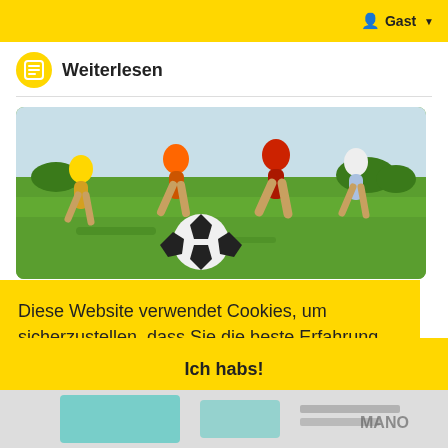Gast
Weiterlesen
[Figure (photo): Children running and playing soccer on a green grass field, soccer ball in foreground]
Oregon DL Focus Ben Roberts Decommits versus...
Diese Website verwendet Cookies, um sicherzustellen, dass Sie die beste Erfahrung auf unserer Website erhalten. Erfahren Sie mehr
Ich habs!
[Figure (photo): Partial view of another image at the bottom of the page]